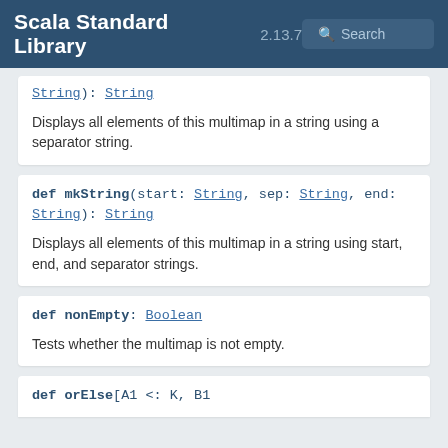Scala Standard Library 2.13.7 Search
String): String
Displays all elements of this multimap in a string using a separator string.
def mkString(start: String, sep: String, end: String): String
Displays all elements of this multimap in a string using start, end, and separator strings.
def nonEmpty: Boolean
Tests whether the multimap is not empty.
def orElse[A1 <: K, B1